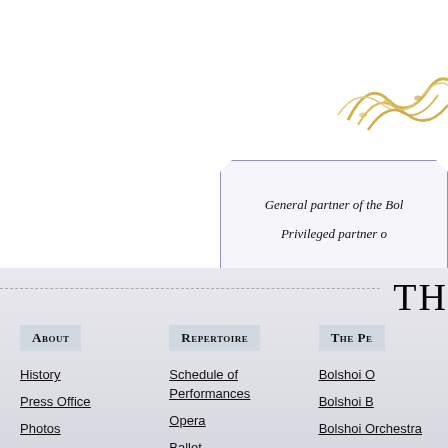[Figure (illustration): Decorative gold ribbon/laurel element in top-right corner]
General partner of the Bol
Privileged partner o
TH
About
Repertoire
The Pe
History
Press Office
Photos
Live relays
Schedule of Performances
Opera
Ballet
Bolshoi O
Bolshoi B
Bolshoi Orchestra